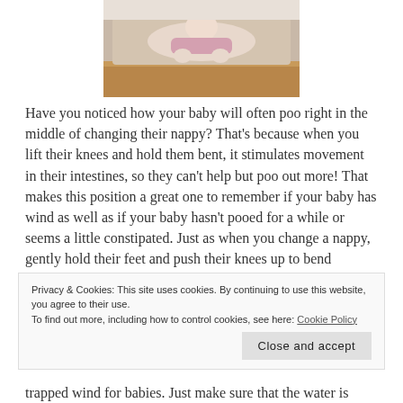[Figure (photo): A baby lying on a changing table viewed from above]
Have you noticed how your baby will often poo right in the middle of changing their nappy? That's because when you lift their knees and hold them bent, it stimulates movement in their intestines, so they can't help but poo out more! That makes this position a great one to remember if your baby has wind as well as if your baby hasn't pooed for a while or seems a little constipated. Just as when you change a nappy, gently hold their feet and push their knees up to bend naturally. Hold in that position for a few minutes if baby will
Privacy & Cookies: This site uses cookies. By continuing to use this website, you agree to their use.
To find out more, including how to control cookies, see here: Cookie Policy
trapped wind for babies. Just make sure that the water is